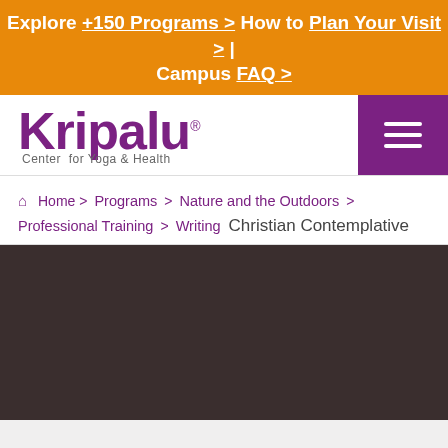Explore +150 Programs > How to Plan Your Visit > | Campus FAQ >
[Figure (logo): Kripalu Center for Yoga & Health logo with purple text]
Home > Programs > Nature and the Outdoors > Professional Training > Writing  Christian Contemplative
[Figure (photo): Dark brown/black background image area]